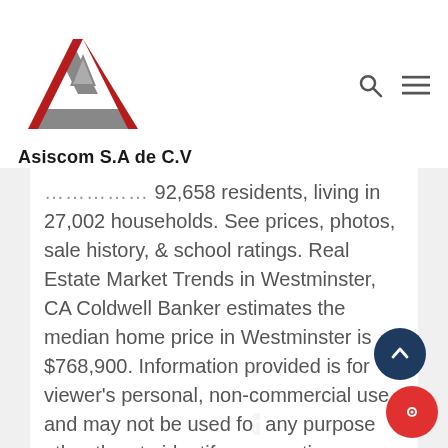[Figure (logo): Asiscom S.A de C.V logo with red and gray triangle/chevron shape]
Asiscom S.A de C.V
...There are roughly 92,658 residents, living in 27,002 households. See prices, photos, sale history, & school ratings. Real Estate Market Trends in Westminster, CA Coldwell Banker estimates the median home price in Westminster is $768,900. Information provided is for viewer's personal, non-commercial use and may not be used for any purpose other than to identify prospective properties the viewer may be interested in purchasing. Browse photos...